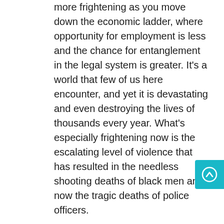more frightening as you move down the economic ladder, where opportunity for employment is less and the chance for entanglement in the legal system is greater. It's a world that few of us here encounter, and yet it is devastating and even destroying the lives of thousands every year. What's especially frightening now is the escalating level of violence that has resulted in the needless shooting deaths of black men and now the tragic deaths of police officers.

So, what now? Last December our Associate Minister Lisa Bovee-Kemper challenged you to consider how we as a congregation might respond. She presented you quotes from a couple of our colleagues: One was from The Rev. Tom Schade, who said that "We who believe in people must join in the movement
[Figure (other): Teal/cyan square scroll-up button with white upward arrow icon, positioned at the right edge of the page]